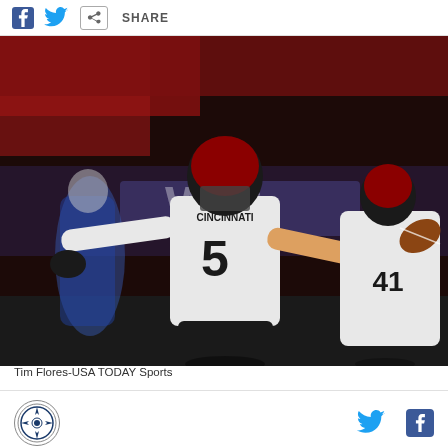SHARE
[Figure (photo): Cincinnati Bearcats player #5 celebrating on the football field with arms spread wide, wearing white jersey and black helmet. Player #41 visible in background holding football. Game being played at night in a stadium.]
Tim Flores-USA TODAY Sports
Logo and social media icons (Twitter, Facebook)